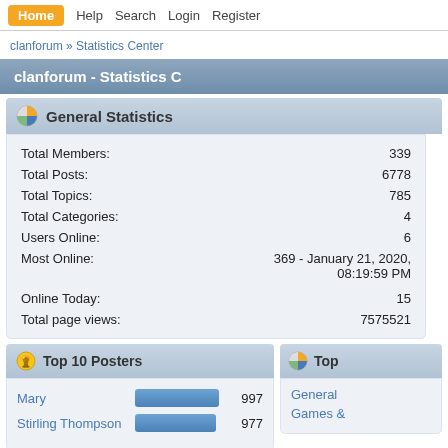Home  Help  Search  Login  Register
clanforum » Statistics Center
clanforum - Statistics C
General Statistics
| Stat | Value |
| --- | --- |
| Total Members: | 339 |
| Total Posts: | 6778 |
| Total Topics: | 785 |
| Total Categories: | 4 |
| Users Online: | 6 |
| Most Online: | 369 - January 21, 2020, 08:19:59 PM |
| Online Today: | 15 |
| Total page views: | 7575521 |
Top 10 Posters
Mary  997
Stirling Thompson  977
Top
General
Games &